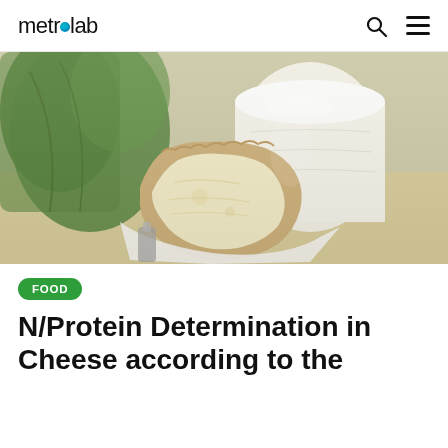metrolab
[Figure (photo): Close-up photo of cheese pieces: a round soft cheese with textured rind in the foreground, and a white cylindrical cheese in the background with green herb/leaf garnish]
FOOD
N/Protein Determination in Cheese according to the Kjeldahl method